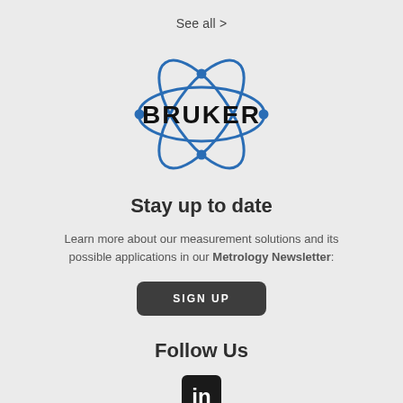See all >
[Figure (logo): Bruker logo: blue atomic orbital ellipses with dots at intersections around bold black BRUKER text]
Stay up to date
Learn more about our measurement solutions and its possible applications in our Metrology Newsletter:
SIGN UP
Follow Us
[Figure (logo): LinkedIn icon: white 'in' on dark rounded square background]